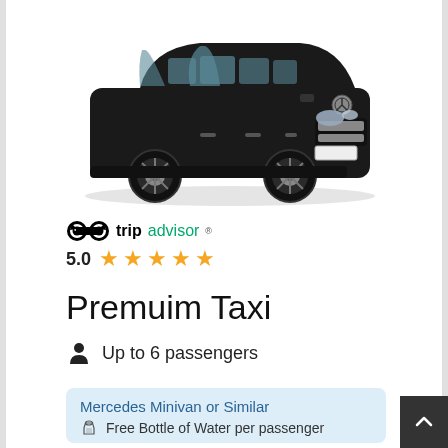[Figure (photo): Black Mercedes Minivan (V-Class) luxury taxi vehicle photographed from front-right angle on white background]
[Figure (logo): TripAdvisor logo with owl icon in black and green text]
5.0 ★★★★★
Premuim Taxi
Up to 6 passengers
Mercedes Minivan or Similar
Free Bottle of Water per passenger